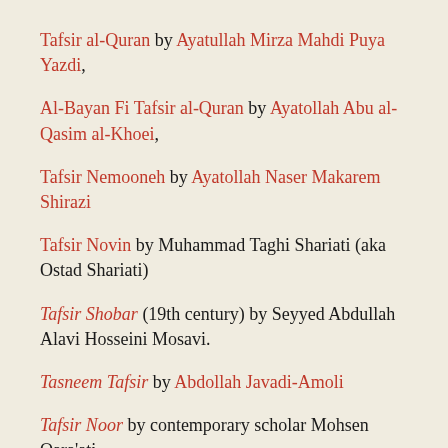Tafsir al-Quran by Ayatullah Mirza Mahdi Puya Yazdi,
Al-Bayan Fi Tafsir al-Quran by Ayatollah Abu al-Qasim al-Khoei,
Tafsir Nemooneh by Ayatollah Naser Makarem Shirazi
Tafsir Novin by Muhammad Taghi Shariati (aka Ostad Shariati)
Tafsir Shobar (19th century) by Seyyed Abdullah Alavi Hosseini Mosavi.
Tasneem Tafsir by Abdollah Javadi-Amoli
Tafsir Noor by contemporary scholar Mohsen Qara'ati
Tafsir Meshkat by contemporary scholar Mohammadali